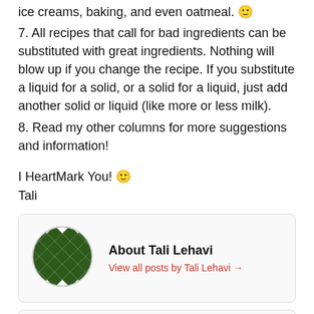ice creams, baking, and even oatmeal. 🙂
7. All recipes that call for bad ingredients can be substituted with great ingredients. Nothing will blow up if you change the recipe. If you substitute a liquid for a solid, or a solid for a liquid, just add another solid or liquid (like more or less milk).
8. Read my other columns for more suggestions and information!
I HeartMark You! 🙂
Tali
About Tali Lehavi
View all posts by Tali Lehavi →
Connect with us
Planet Heart is on Facebook and Twitter